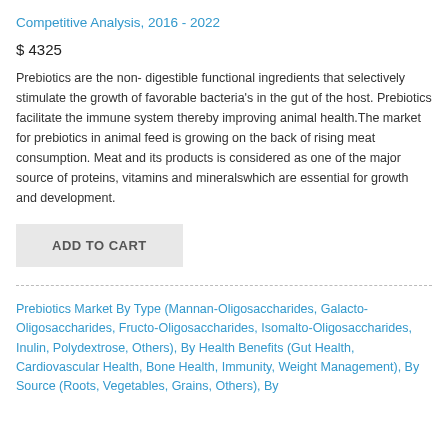Competitive Analysis, 2016 - 2022
$ 4325
Prebiotics are the non- digestible functional ingredients that selectively stimulate the growth of favorable bacteria's in the gut of the host. Prebiotics facilitate the immune system thereby improving animal health.The market for prebiotics in animal feed is growing on the back of rising meat consumption. Meat and its products is considered as one of the major source of proteins, vitamins and mineralswhich are essential for growth and development.
ADD TO CART
Prebiotics Market By Type (Mannan-Oligosaccharides, Galacto-Oligosaccharides, Fructo-Oligosaccharides, Isomalto-Oligosaccharides, Inulin, Polydextrose, Others), By Health Benefits (Gut Health, Cardiovascular Health, Bone Health, Immunity, Weight Management), By Source (Roots, Vegetables, Grains, Others), By